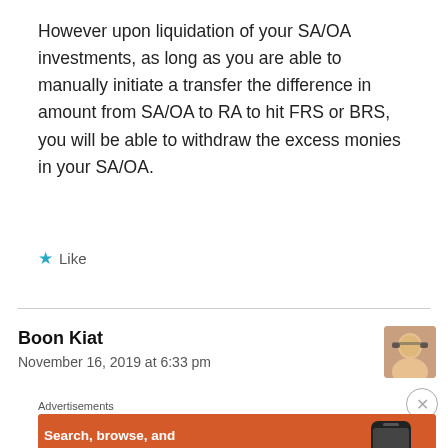However upon liquidation of your SA/OA investments, as long as you are able to manually initiate a transfer the difference in amount from SA/OA to RA to hit FRS or BRS, you will be able to withdraw the excess monies in your SA/OA.
★ Like
Boon Kiat
November 16, 2019 at 6:33 pm
[Figure (photo): Small avatar photo of commenter Boon Kiat, a person with glasses]
[Figure (screenshot): DuckDuckGo advertisement banner with orange background. Text: 'Search, browse, and email with more privacy. All in One Free App' with DuckDuckGo logo and phone image on the right.]